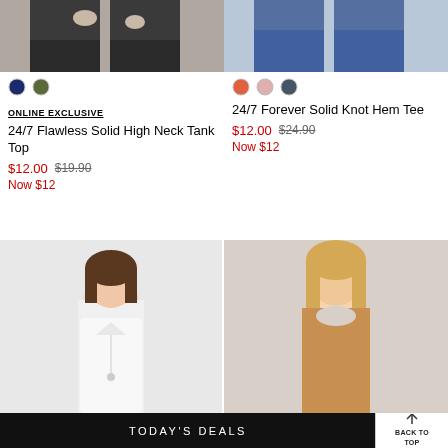[Figure (photo): Cropped bottom view of dark jeans on model (left product)]
[Figure (photo): Cropped bottom view of blue jeans on model (right product)]
ONLINE EXCLUSIVE
24/7 Flawless Solid High Neck Tank Top
$12.00  $19.90  Now $12
24/7 Forever Solid Knot Hem Tee
$12.00  $24.90  Now $12
[Figure (photo): Woman wearing white tank top with V-neck, smiling, with long pendant necklace]
[Figure (photo): Woman wearing camel/tan short-sleeve scoop neck top, straight hair]
TODAY'S DEALS
BACK TO TOP